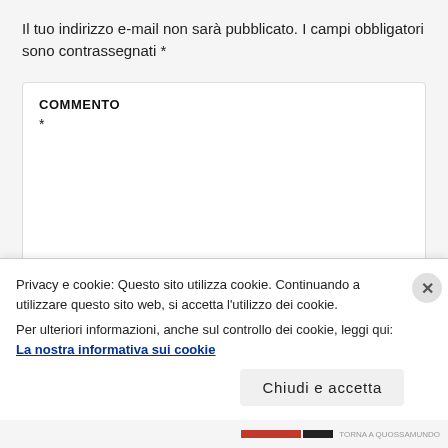Il tuo indirizzo e-mail non sarà pubblicato. I campi obbligatori sono contrassegnati *
COMMENTO
*
Privacy e cookie: Questo sito utilizza cookie. Continuando a utilizzare questo sito web, si accetta l'utilizzo dei cookie.
Per ulteriori informazioni, anche sul controllo dei cookie, leggi qui: La nostra informativa sui cookie
Chiudi e accetta